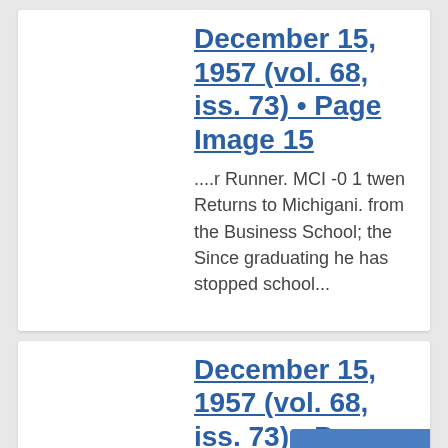December 15, 1957 (vol. 68, iss. 73) • Page Image 15
....r Runner. MCI -0 1 twen Returns to Michigani. from the Business School; the Since graduating he has stopped school...
December 15, 1957 (vol. 68, iss. 73) • Page